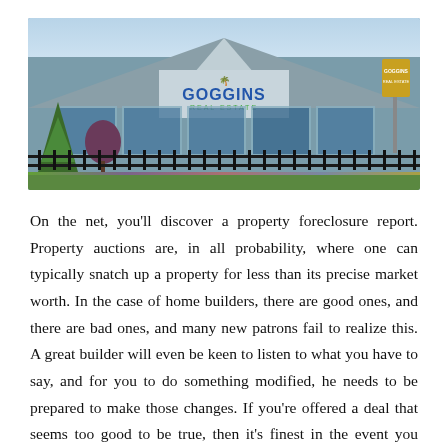[Figure (photo): Exterior photo of Goggins Real Estate office building, a low single-story structure with blue-gray siding, center gable sign reading 'Goggins Real Estate', large windows, black iron fence in front, trees and flowering plants in foreground, with a yellow Goggins sign post on the right.]
On the net, you'll discover a property foreclosure report. Property auctions are, in all probability, where one can typically snatch up a property for less than its precise market worth. In the case of home builders, there are good ones, and there are bad ones, and many new patrons fail to realize this. A great builder will even be keen to listen to what you have to say, and for you to do something modified, he needs to be prepared to make those changes. If you're offered a deal that seems too good to be true, then it's finest in the event you assume one thing is amiss. You could wish to buy a subscription service that features lists from all around the net if you're severely fascinated by